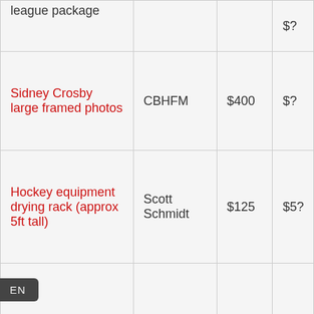| Item | Donor | Value |  |
| --- | --- | --- | --- |
| league package |  |  | $? |
| Sidney Crosby large framed photos | CBHFM | $400 | $? |
| Hockey equipment drying rack (approx 5ft tall) | Scott Schmidt | $125 | $5? |
|  |  |  |  |
| NON-SPORT ITEMS |  |  |  |
| Harry Potter and the Prisoner of Azkaban in concert at Sony... | Sony Centre | $225 | $? |